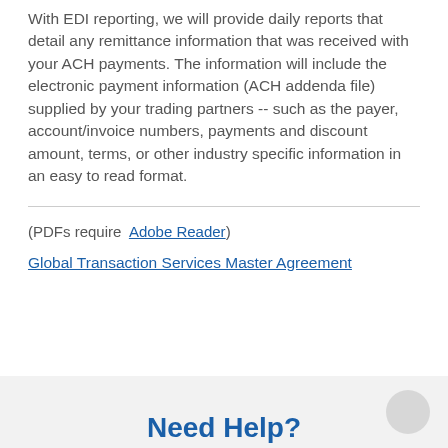With EDI reporting, we will provide daily reports that detail any remittance information that was received with your ACH payments. The information will include the electronic payment information (ACH addenda file) supplied by your trading partners -- such as the payer, account/invoice numbers, payments and discount amount, terms, or other industry specific information in an easy to read format.
(PDFs require Adobe Reader)
Global Transaction Services Master Agreement
Need Help?